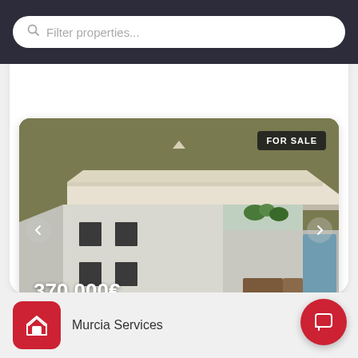[Figure (screenshot): Search bar with 'Filter properties...' placeholder text on dark background]
[Figure (photo): 3D render of a modern white flat-roof house for sale at 370,000€, shown in a property listing card with FOR SALE badge, navigation arrows, price overlay, and action buttons]
370,000€
Murcia Services